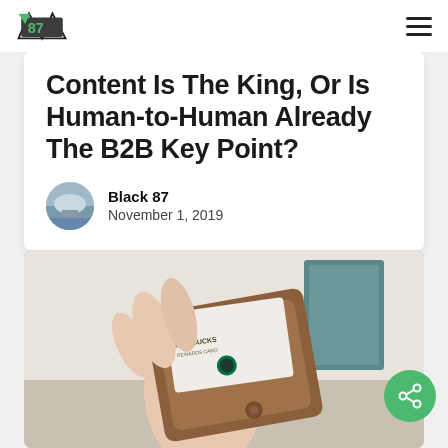Black 87 logo and navigation menu
Content Is The King, Or Is Human-to-Human Already The B2B Key Point?
Black 87
November 1, 2019
[Figure (photo): A hand holding an open brown leather wallet containing a Starbucks card]